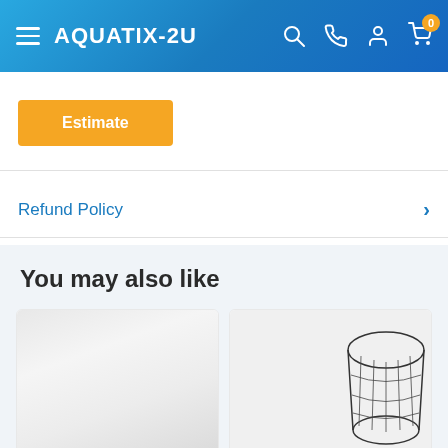AQUATIX-2U
Estimate
Refund Policy
You may also like
[Figure (photo): White filter material/pad product photo]
[Figure (photo): Black wire mesh basket/net product photo]